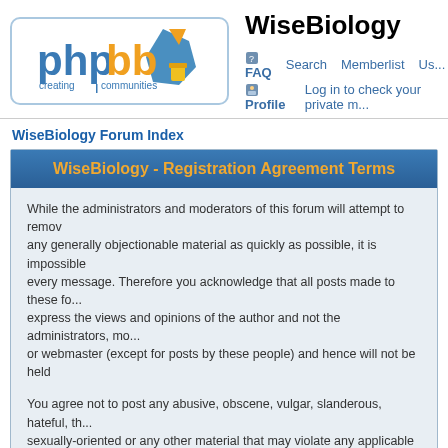[Figure (logo): phpBB logo - blue and orange geometric shapes with text 'phpbb creating communities']
WiseBiology
FAQ  Search  Memberlist  Us...  Profile  Log in to check your private m...
WiseBiology Forum Index
WiseBiology - Registration Agreement Terms
While the administrators and moderators of this forum will attempt to remove any generally objectionable material as quickly as possible, it is impossible every message. Therefore you acknowledge that all posts made to these fo... express the views and opinions of the author and not the administrators, mo... or webmaster (except for posts by these people) and hence will not be held
You agree not to post any abusive, obscene, vulgar, slanderous, hateful, th... sexually-oriented or any other material that may violate any applicable laws may lead to you being immediately and permanently banned (and your serv... provider being informed). The IP address of all posts is recorded to aid in en... these conditions. You agree that the webmaster, administrator and moderat... forum have the right to remove, edit, move or close any topic at any time sh... see fit. As a user you agree to any information you have entered above bein... in a database. While this information will not be disclosed to any third party your consent the webmaster, administrator and moderators cannot be held responsible for any hacking attempt that may lead to the data being compro...
This forum system uses cookies to store information on your local computer... cookies do not contain any of the information you have entered above; they only to improve your viewing pleasure. The e-mail address is used only for...